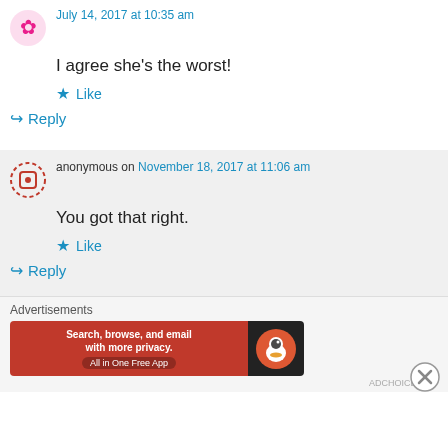I agree she's the worst!
★ Like
↪ Reply
anonymous on November 18, 2017 at 11:06 am
You got that right.
★ Like
↪ Reply
Advertisements
[Figure (screenshot): DuckDuckGo advertisement banner: orange left side with text 'Search, browse, and email with more privacy. All in One Free App', dark right side with DuckDuckGo duck logo]